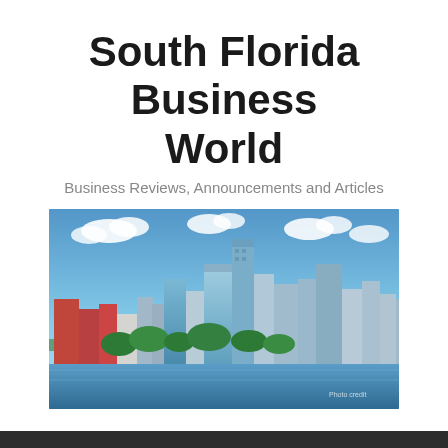South Florida Business World
Business Reviews, Announcements and Articles
[Figure (photo): Aerial panoramic photo of South Florida skyline with modern skyscrapers along waterfront under blue sky with white clouds]
≡ Menu